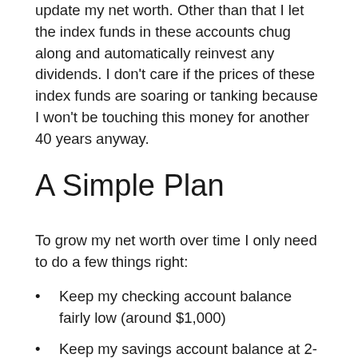update my net worth. Other than that I let the index funds in these accounts chug along and automatically reinvest any dividends. I don't care if the prices of these index funds are soaring or tanking because I won't be touching this money for another 40 years anyway.
A Simple Plan
To grow my net worth over time I only need to do a few things right:
Keep my checking account balance fairly low (around $1,000)
Keep my savings account balance at 2-6 months of